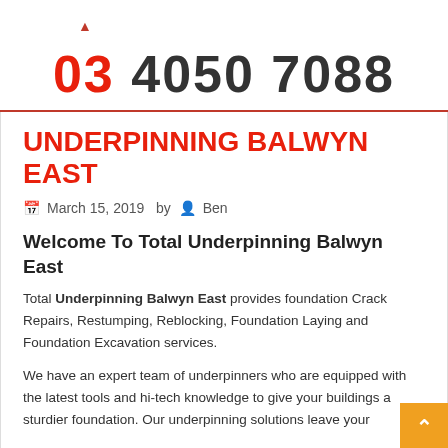03 4050 7088
UNDERPINNING BALWYN EAST
March 15, 2019  by Ben
Welcome To Total Underpinning Balwyn East
Total Underpinning Balwyn East provides foundation Crack Repairs, Restumping, Reblocking, Foundation Laying and Foundation Excavation services.
We have an expert team of underpinners who are equipped with the latest tools and hi-tech knowledge to give your buildings a sturdier foundation. Our underpinning solutions leave your